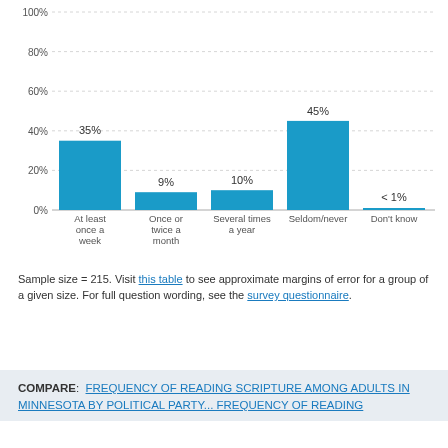[Figure (bar-chart): ]
Sample size = 215. Visit this table to see approximate margins of error for a group of a given size. For full question wording, see the survey questionnaire.
COMPARE:  FREQUENCY OF READING SCRIPTURE AMONG ADULTS IN MINNESOTA BY POLITICAL PARTY... FREQUENCY OF READING...